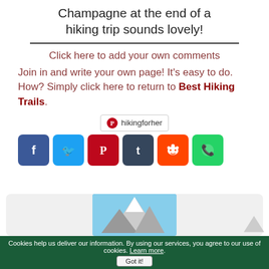Champagne at the end of a hiking trip sounds lovely!
Click here to add your own comments
Join in and write your own page! It's easy to do. How? Simply click here to return to Best Hiking Trails.
[Figure (other): Pinterest badge showing hikingforher and social sharing icons for Facebook, Twitter, Pinterest, Tumblr, Reddit, WhatsApp]
[Figure (photo): Mountain with snow-capped peak against blue sky]
Cookies help us deliver our information. By using our services, you agree to our use of cookies. Learn more. Got it!